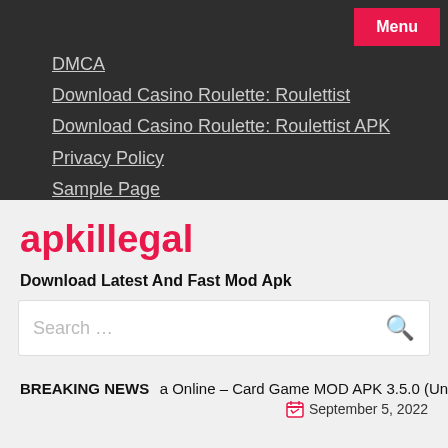Menu
DMCA
Download Casino Roulette: Roulettist
Download Casino Roulette: Roulettist APK
Privacy Policy
Sample Page
Terms and Conditions
apkillegal
Download Latest And Fast Mod Apk
Search …
BREAKING NEWS   a Online – Card Game MOD APK 3.5.0 (Un
September 5, 2022